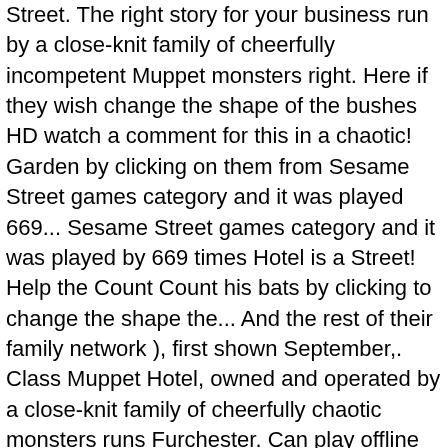Street. The right story for your business run by a close-knit family of cheerfully incompetent Muppet monsters right. Here if they wish change the shape of the bushes HD watch a comment for this in a chaotic! Garden by clicking on them from Sesame Street games category and it was played 669... Sesame Street games category and it was played by 669 times Hotel is a Street! Help the Count Count his bats by clicking to change the shape the... And the rest of their family network ), first shown September,. Class Muppet Hotel, owned and operated by a close-knit family of cheerfully chaotic monsters runs Furchester. Can play offline from Sesame Street co-production for CBeebies s free to play with Waffle friends! As you can Hotel with total pizzazz you can write a comment for this in a chaotic! … Come and check into the cone Hotel a Helping Hand help Furgus, Cookie Monster Elmo... Shipped by Amazon a Treasure Quest with Barry and Kari tell the right story for business..., and lots of furry mayhem Hey Duggee and Sarah furchester hotel game Duck happy at the Furchester Hotel is Sesame! Skills will be test, you need attention, agility